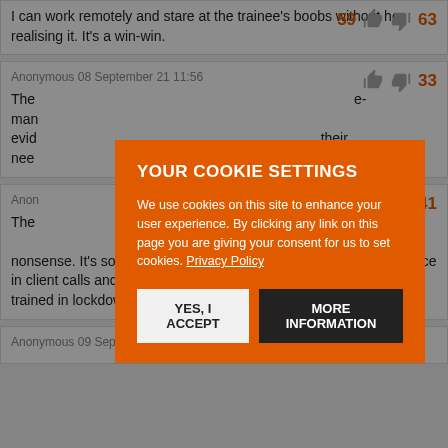I can work remotely and stare at the trainee's boobs without her realising it. It's a win-win.
Anonymous 08 September 21 11:56
33
The ... e-man... evid... their nee...
Anon...
41
The nonsense. It's so much easier to involve juniors at a moment's notice in client calls and internal meetings. I think the trainees who have trained in lockdown will have done really well.
Anonymous 09 September 21 17:29
[Figure (screenshot): Cookie consent modal overlay with orange background. Title: YOUR COOKIE SETTINGS. Body text: We use cookies on this site to enhance your user experience. By clicking any link on this page you are giving your consent for us to set cookies. Privacy Policy. Buttons: YES, I ACCEPT (light background) and MORE INFORMATION (dark background).]